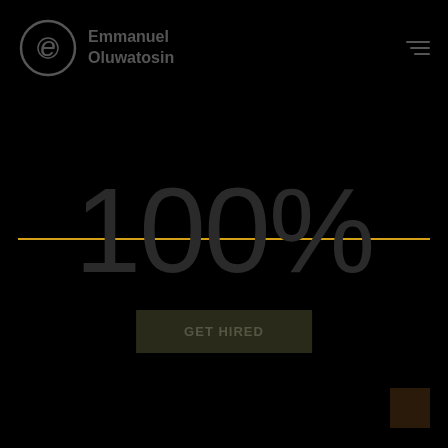[Figure (logo): Emmanuel Oluwatosin logo with circular 'e' icon and name text]
100%
GET HIRED
bottom decorative area